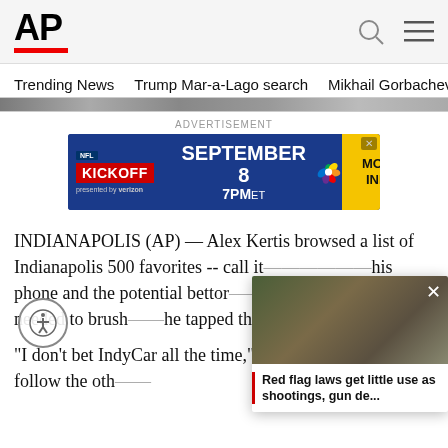AP
Trending News   Trump Mar-a-Lago search   Mikhail Gorbachev d
[Figure (screenshot): NFL Kickoff advertisement banner: September 8, 7PMet, More Info, presented by Verizon, NBC logo]
INDIANAPOLIS (AP) — Alex Kertis browsed a list of Indianapolis 500 favorites -- call it... his phone and the potential bettor... I... resident just needed to brush... he tapped the screen.
"I don't bet IndyCar all the time," ... don't follow it like I follow the oth...
[Figure (screenshot): Overlay card: Red flag laws get little use as shootings, gun de... with outdoor scene image of police officer]